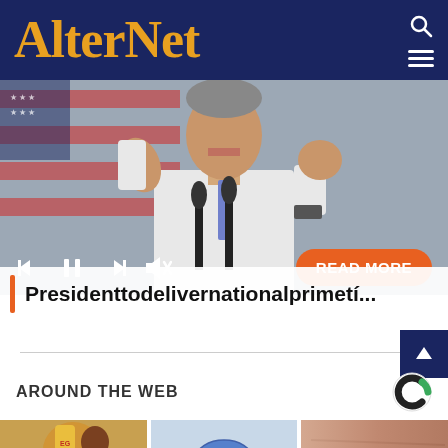AlterNet
[Figure (photo): A politician speaking at microphones with an American flag in the background, making gestures with both fists raised. Media player controls are overlaid on the image including skip back, pause, skip forward, and mute buttons on the left, and a READ MORE orange button on the right.]
Presidenttodelivernationalprimetí...
AROUND THE WEB
[Figure (photo): Thumbnail of a man drinking from a bottle]
[Figure (photo): Thumbnail of a blue pill/tablet]
[Figure (photo): Thumbnail of aged/wrinkled skin close-up]